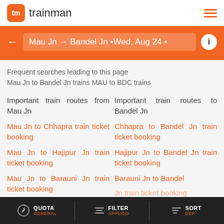[Figure (logo): Trainman app logo with orange icon and wordmark]
Mau Jn → Bandel Jn •Wed, Aug 24 •
Frequent searches leading to this page
Mau Jn to Bandel Jn trains MAU to BDC trains
Important train routes from Mau Jn
Important train routes to Bandel Jn
Mau Jn to Chhapra train ticket booking
Chhapra to Bandel Jn train ticket booking
Mau Jn to Hajipur Jn train ticket booking
Hajipur Jn to Bandel Jn train ticket booking
Mau Jn to Barauni Jn train ticket booking
Barauni Jn to Bandel Jn train ticket booking
QUOTA GENERAL | FILTER APPLIED | SORT DEP